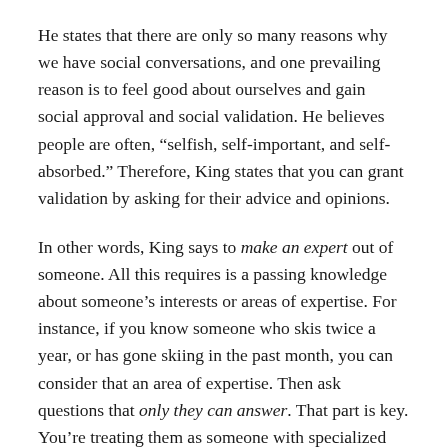He states that there are only so many reasons why we have social conversations, and one prevailing reason is to feel good about ourselves and gain social approval and social validation. He believes people are often, “selfish, self-important, and self-absorbed.” Therefore, King states that you can grant validation by asking for their advice and opinions.
In other words, King says to make an expert out of someone. All this requires is a passing knowledge about someone’s interests or areas of expertise. For instance, if you know someone who skis twice a year, or has gone skiing in the past month, you can consider that an area of expertise. Then ask questions that only they can answer. That part is key. You’re treating them as someone with specialized knowledge and allowing them to educate you. You are giving them the spotlight and making them feel important and intelligent. This doesn’t work when you speak about the weather because it’s an inherently boring topic, and it’s a topic anyone on the